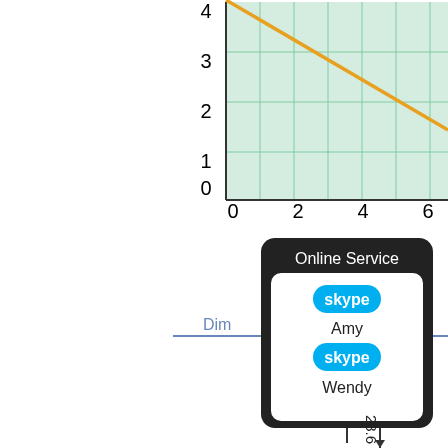[Figure (continuous-plot): Partial view of a coordinate grid with y-axis labels 0-4 and x-axis labels 0,2,4,6 (partially visible). An orange diagonal line slopes downward from upper left to lower right across the green grid.]
[Figure (infographic): A dark rounded rectangle labeled 'Online Service' containing two Skype logo entries with names: Amy and Wendy. Connected by a horizontal line labeled 'Dim' on the left. A vertical measurement line shows 28.6 at the bottom.]